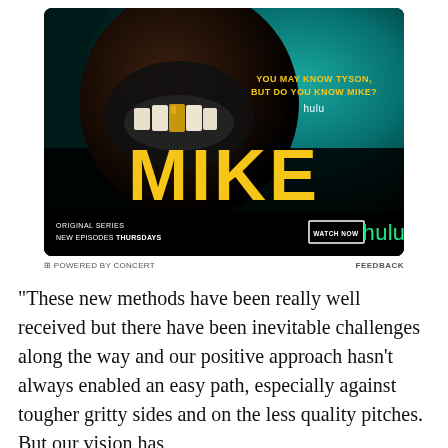[Figure (photo): Hulu advertisement for the original series 'MIKE' showing a person with a gold tooth smiling broadly against a teal background. Text reads 'YOU MAY KNOW TYSON, BUT DO YOU KNOW MIKE?' with hulu branding. Bottom bar shows 'ORIGINAL SERIES NEW EPISODES THURSDAYS' with 'WATCH NOW' button and hulu logo in green.]
⊟ POWERED BY CONCERT    FEEDBACK
"These new methods have been really well received but there have been inevitable challenges along the way and our positive approach hasn't always enabled an easy path, especially against tougher gritty sides and on the less quality pitches. But our vision has